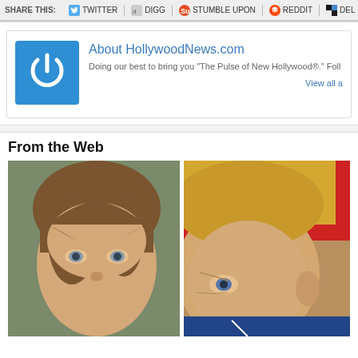SHARE THIS: TWITTER DIGG STUMBLE UPON REDDIT DEL
About HollywoodNews.com
Doing our best to bring you "The Pulse of New Hollywood®." Foll...
View all a
From the Web
[Figure (photo): Young boy with brown hair and blue-grey eyes looking at camera]
[Figure (photo): Older man with blond hair, partial face visible]